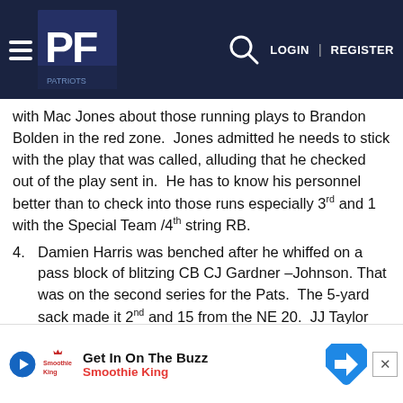PF — LOGIN | REGISTER
with Mac Jones about those running plays to Brandon Bolden in the red zone.  Jones admitted he needs to stick with the play that was called, alluding that he checked out of the play sent in.  He has to know his personnel better than to check into those runs especially 3rd and 1 with the Special Team /4th string RB.
4. Damien Harris was benched after he whiffed on a pass block of blitzing CB CJ Gardner –Johnson. That was on the second series for the Pats.  The 5-yard sack made it 2nd and 15 from the NE 20.  JJ Taylor came in for Harris and the patriots telegraphed they were running a screenplay and Taylor lost another yard.  Poor play-calling and execution.  Harris didn't
5. J... ...kage
[Figure (screenshot): Advertisement bar: Get In On The Buzz — Smoothie King, with play button, Smoothie King logo, navigation arrow icon, and close button]